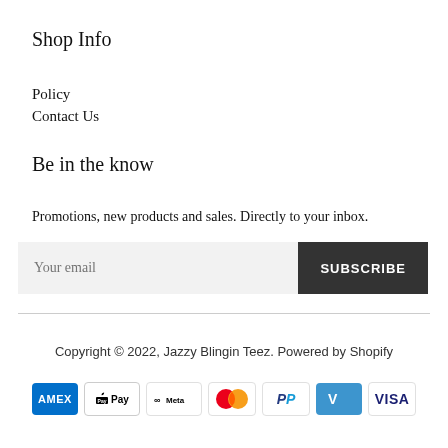Shop Info
Policy
Contact Us
Be in the know
Promotions, new products and sales. Directly to your inbox.
Your email / SUBSCRIBE
Copyright © 2022, Jazzy Blingin Teez. Powered by Shopify
[Figure (other): Payment method icons: Amex, Apple Pay, Meta Pay, Mastercard, PayPal, Venmo, Visa]